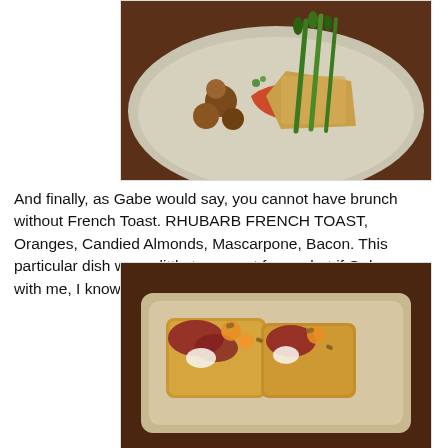[Figure (photo): A plate of food with asparagus, potatoes, a slice of quiche or frittata with red sauce on a ceramic plate, viewed from above on a wooden table.]
And finally, as Gabe would say, you cannot have brunch without French Toast. RHUBARB FRENCH TOAST, Oranges, Candied Almonds, Mascarpone, Bacon. This particular dish was a little too sweet for me but if Gabe was with me, I know he would devour it.
[Figure (photo): A close-up of Rhubarb French Toast with candied almonds, mascarpone, and bacon on a rectangular ceramic plate on a wooden table.]